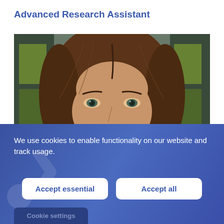Advanced Research Assistant
[Figure (photo): Close-up photo of a woman with long brown hair, looking slightly upward, with a blurred building/window background visible behind her.]
We use cookies to enable functionality on our website and track usage.
Accept essential
Accept all
Cookie settings